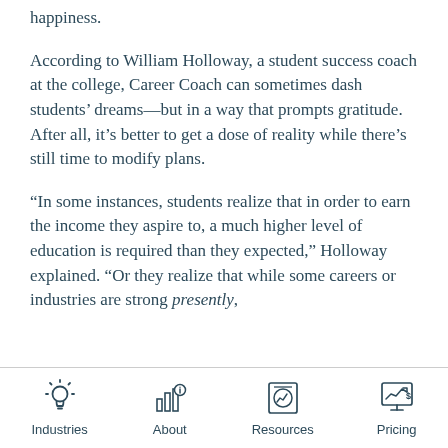happiness.
According to William Holloway, a student success coach at the college, Career Coach can sometimes dash students’ dreams—but in a way that prompts gratitude. After all, it’s better to get a dose of reality while there’s still time to modify plans.
“In some instances, students realize that in order to earn the income they aspire to, a much higher level of education is required than they expected,” Holloway explained. “Or they realize that while some careers or industries are strong presently,
Industries  About  Resources  Pricing